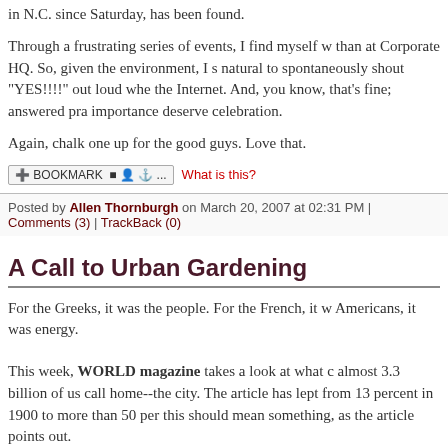in N.C. since Saturday, has been found.
Through a frustrating series of events, I find myself w... than at Corporate HQ. So, given the environment, I s... natural to spontaneously shout "YES!!!!" out loud whe... the Internet. And, you know, that's fine; answered pra... importance deserve celebration.
Again, chalk one up for the good guys. Love that.
[Figure (other): Bookmark button with icons and 'What is this?' link]
Posted by Allen Thornburgh on March 20, 2007 at 02:31 PM | Comments (3) | TrackBack (0)
A Call to Urban Gardening
For the Greeks, it was the people. For the French, it w... Americans, it was energy.
This week, WORLD magazine takes a look at what c... almost 3.3 billion of us call home--the city. The article... has lept from 13 percent in 1900 to more than 50 per... this should mean something, as the article points out.
Wherever the streets, Christians know that th... pilgrimage, somewhere between the garden t... and the garden-city laid out in Revelation.
For forward-looking Christians anticipating the New...